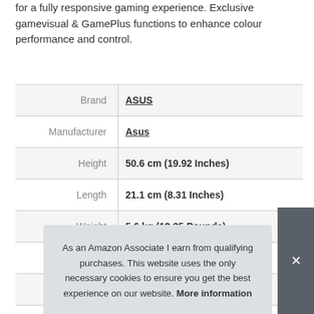for a fully responsive gaming experience. Exclusive gamevisual & GamePlus functions to enhance colour performance and control.
|  |  |
| --- | --- |
| Brand | ASUS |
| Manufacturer | Asus |
| Height | 50.6 cm (19.92 Inches) |
| Length | 21.1 cm (8.31 Inches) |
| Weight | 5.6 kg (12.35 Pounds) |
| Width | 61.9 cm (24.37 Inches) |
| P |  |
As an Amazon Associate I earn from qualifying purchases. This website uses the only necessary cookies to ensure you get the best experience on our website. More information